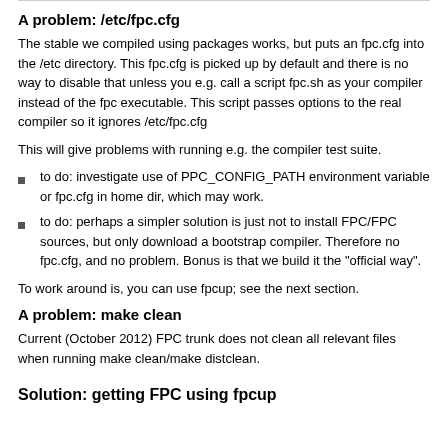A problem: /etc/fpc.cfg
The stable we compiled using packages works, but puts an fpc.cfg into the /etc directory. This fpc.cfg is picked up by default and there is no way to disable that unless you e.g. call a script fpc.sh as your compiler instead of the fpc executable. This script passes options to the real compiler so it ignores /etc/fpc.cfg
This will give problems with running e.g. the compiler test suite.
to do: investigate use of PPC_CONFIG_PATH environment variable or fpc.cfg in home dir, which may work.
to do: perhaps a simpler solution is just not to install FPC/FPC sources, but only download a bootstrap compiler. Therefore no fpc.cfg, and no problem. Bonus is that we build it the "official way".
To work around is, you can use fpcup; see the next section.
A problem: make clean
Current (October 2012) FPC trunk does not clean all relevant files when running make clean/make distclean.
Solution: getting FPC using fpcup